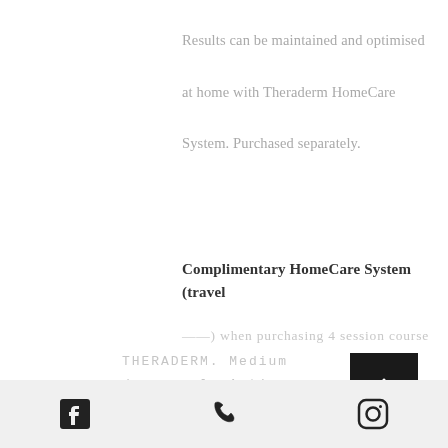Results can be maintained and optimised at home with Theraderm HomeCare System. Purchased separately.
Complimentary HomeCare System (travel
only) when purchasing 4 session course
THERADERM. Medium deep peel. Active Ingredients Salicylic Acid 14%, Lactic Acid 14%, Resorcinol 14% +TCA 15%, 20%, or 30%
[Figure (other): Back to top arrow button, black square with white upward chevron]
Facebook icon | Phone icon | Instagram icon